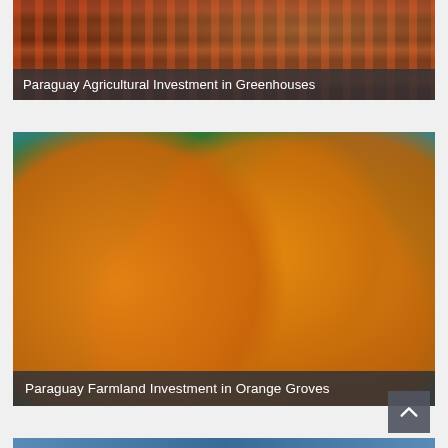[Figure (photo): Aerial/ground view of greenhouse tomato rows with a person crouching among tall tomato plants laden with red tomatoes]
Paraguay Agricultural Investment in Greenhouses
[Figure (photo): Close-up photo of an orange tree branch with several ripe oranges against a bright blue sky]
Paraguay Farmland Investment in Orange Groves